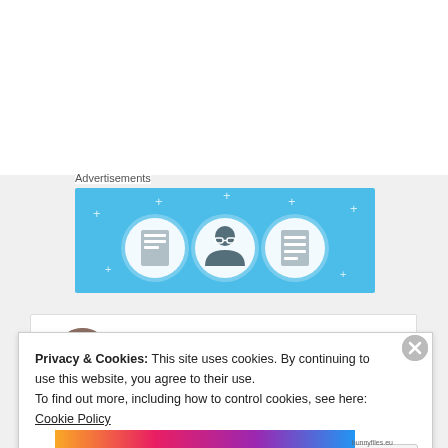Advertisements
[Figure (illustration): Advertisement banner with light blue background showing three circular icons with document/person/list images and star decorations]
[Figure (photo): User avatar photo of a man]
scott467
08/04/2021 @ 03:59 at 03:59
Privacy & Cookies: This site uses cookies. By continuing to use this website, you agree to their use.
To find out more, including how to control cookies, see here: Cookie Policy
Close and accept